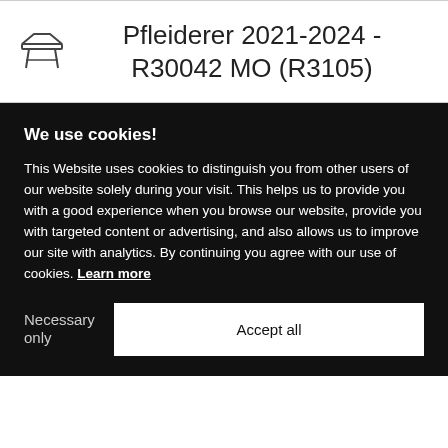Pfleiderer 2021-2024 - R30042 MO (R3105)
We use cookies!
This Website uses cookies to distinguish you from other users of our website solely during your visit. This helps us to provide you with a good experience when you browse our website, provide you with targeted content or advertising, and also allows us to improve our site with analytics. By continuing you agree with our use of cookies. Learn more
Necessary only
Accept all